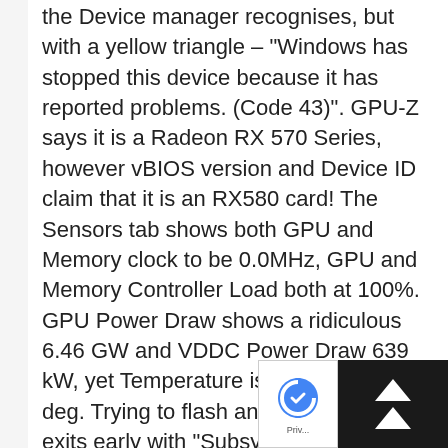the Device manager recognises, but with a yellow triangle – "Windows has stopped this device because it has reported problems. (Code 43)". GPU-Z says it is a Radeon RX 570 Series, however vBIOS version and Device ID claim that it is an RX580 card! The Sensors tab shows both GPU and Memory clock to be 0.0MHz, GPU and Memory Controller Load both at 100%. GPU Power Draw shows a ridiculous 6.46 GW and VDDC Power Draw 639 kW, yet Temperature is only around 40 deg. Trying to flash any RX570 bios exits early with "SubsystemIDs mismatch". Is there a way to force flash an RX vbios, even at the risk of bricking, because the card is of little use as it...